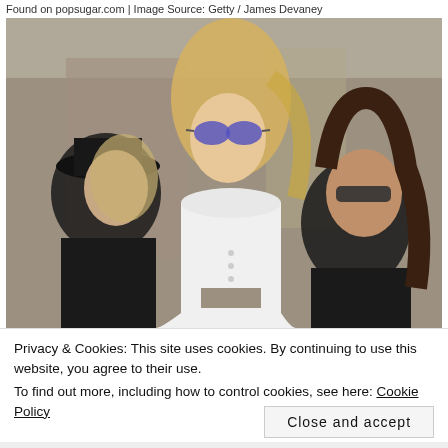Found on popsugar.com | Image Source: Getty / James Devaney
[Figure (photo): Three women walking outdoors on a city street. The central figure is a tall blonde woman wearing purple mirrored sunglasses and a white short-sleeved dress with a cutout at the waist. On the left is a woman in a black outfit wearing a large black hat. On the right is a woman with dark hair wearing a black tank top and dark sunglasses.]
Privacy & Cookies: This site uses cookies. By continuing to use this website, you agree to their use.
To find out more, including how to control cookies, see here: Cookie Policy
Close and accept